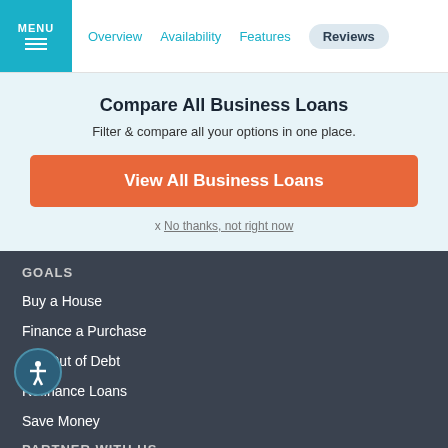MENU | Overview | Availability | Features | Reviews
Compare All Business Loans
Filter & compare all your options in one place.
View All Business Loans
x No thanks, not right now
GOALS
Buy a House
Finance a Purchase
Get Out of Debt
Refinance Loans
Save Money
PARTNER WITH US